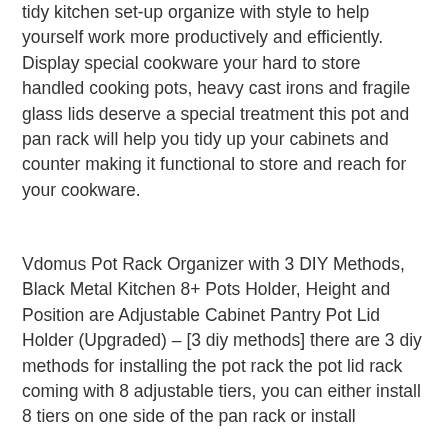tidy kitchen set-up organize with style to help yourself work more productively and efficiently. Display special cookware your hard to store handled cooking pots, heavy cast irons and fragile glass lids deserve a special treatment this pot and pan rack will help you tidy up your cabinets and counter making it functional to store and reach for your cookware.
Vdomus Pot Rack Organizer with 3 DIY Methods, Black Metal Kitchen 8+ Pots Holder, Height and Position are Adjustable Cabinet Pantry Pot Lid Holder (Upgraded) – [3 diy methods] there are 3 diy methods for installing the pot rack the pot lid rack coming with 8 adjustable tiers, you can either install 8 tiers on one side of the pan rack or install